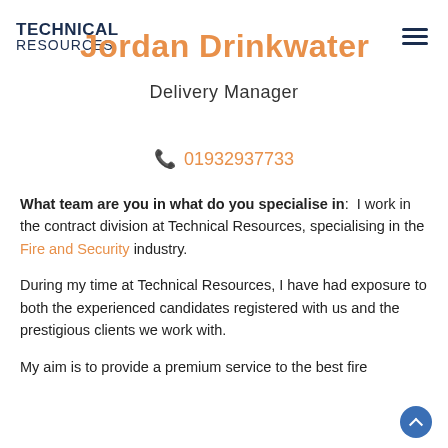TECHNICAL RESOURCES
Jordan Drinkwater
Delivery Manager
01932937733
What team are you in what do you specialise in: I work in the contract division at Technical Resources, specialising in the Fire and Security industry.
During my time at Technical Resources, I have had exposure to both the experienced candidates registered with us and the prestigious clients we work with.
My aim is to provide a premium service to the best fire